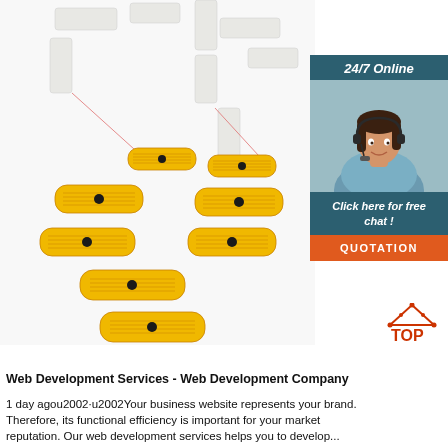[Figure (photo): Product image showing yellow RFID UHF label tags with white spacers/foam pads arranged on a white background, with thin red antenna wires visible connecting some components.]
[Figure (infographic): 24/7 Online chat widget with a female customer service agent wearing a headset, dark teal background, with 'Click here for free chat!' text and an orange QUOTATION button.]
[Figure (illustration): Orange/red TOP arrow icon pointing upward with dots, positioned bottom-right.]
Web Development Services - Web Development Company
1 day agou2002·u2002Your business website represents your brand. Therefore, its functional efficiency is important for your market reputation. Our web development services helps you to develop...